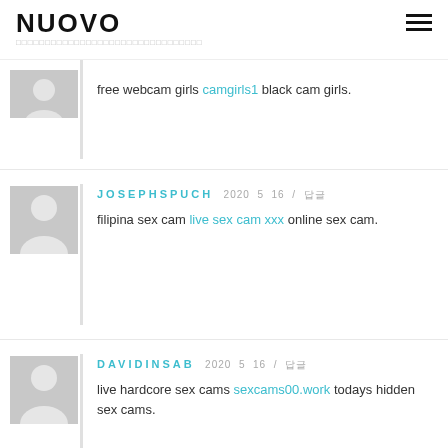NUOVO
free webcam girls camgirls1 black cam girls.
JOSEPHSPUCH 2020 5 16 / 답글
filipina sex cam live sex cam xxx online sex cam.
DAVIDINSAB 2020 5 16 / 답글
live hardcore sex cams sexcams00.work todays hidden sex cams.